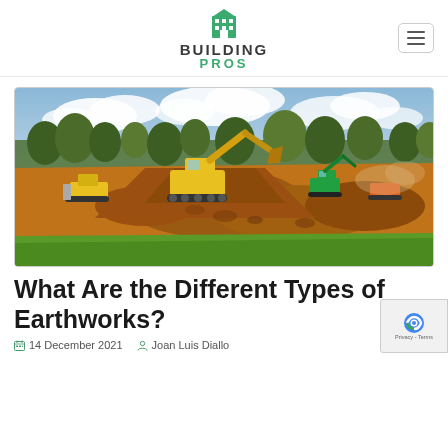BUILDING PROS
[Figure (photo): Construction site with yellow excavators and earth-moving equipment digging into red-brown soil, green grass in foreground, trees and cloudy sky in background]
What Are the Different Types of Earthworks?
14 December 2021   Joan Luis Diallo